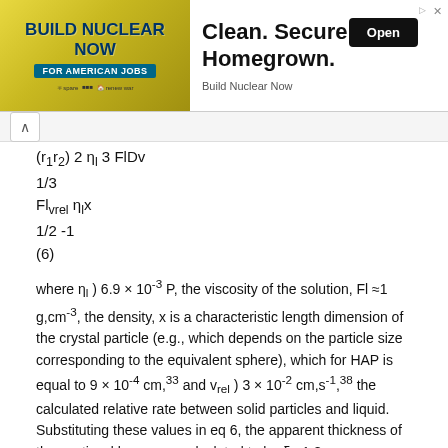[Figure (other): Advertisement banner: 'Build Nuclear Now for American Jobs' on left, 'Clean. Secure. Homegrown. Build Nuclear Now' with Open button on right.]
where ηl ) 6.9 × 10-3 P, the viscosity of the solution, Fl ≈1 g,cm-3, the density, x is a characteristic length dimension of the crystal particle (e.g., which depends on the particle size corresponding to the equivalent sphere), which for HAP is equal to 9 × 10-4 cm,33 and vrel ) 3 × 10-2 cm,s-1,38 the calculated relative rate between solid particles and liquid. Substituting these values in eq 6, the apparent thickness of the unstirred layer was calculated to be δ ≈1.8 μm. Therefore, the stagnant layer is negligibly thick and